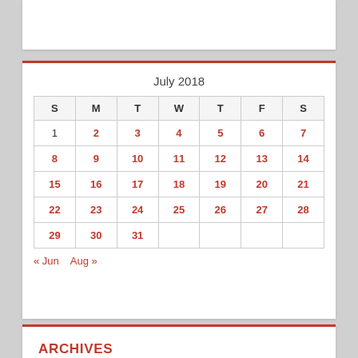| S | M | T | W | T | F | S |
| --- | --- | --- | --- | --- | --- | --- |
| 1 | 2 | 3 | 4 | 5 | 6 | 7 |
| 8 | 9 | 10 | 11 | 12 | 13 | 14 |
| 15 | 16 | 17 | 18 | 19 | 20 | 21 |
| 22 | 23 | 24 | 25 | 26 | 27 | 28 |
| 29 | 30 | 31 |  |  |  |  |
« Jun   Aug »
ARCHIVES